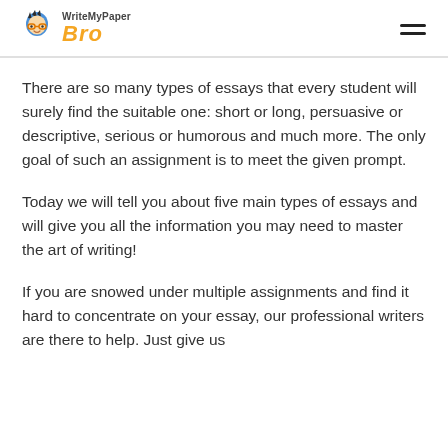WriteMyPaper Bro
There are so many types of essays that every student will surely find the suitable one: short or long, persuasive or descriptive, serious or humorous and much more. The only goal of such an assignment is to meet the given prompt.
Today we will tell you about five main types of essays and will give you all the information you may need to master the art of writing!
If you are snowed under multiple assignments and find it hard to concentrate on your essay, our professional writers are there to help. Just give us